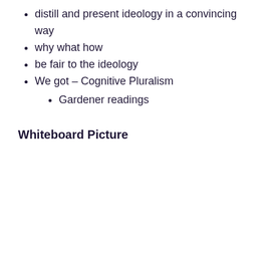distill and present ideology in a convincing way
why what how
be fair to the ideology
We got – Cognitive Pluralism
Gardener readings
Whiteboard Picture